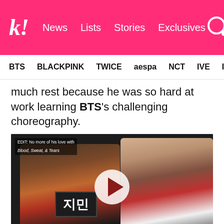k! News Lists Stories Exclusives
BTS BLACKPINK TWICE aespa NCT IVE ITZY
much rest because he was so hard at work learning BTS's challenging choreography.
[Figure (screenshot): Video player screenshot showing two BTS members, one holding a 지민 (Jimin) name card. Subtitle reads: Don't lie, you play games all the time]
Jimin piped in and said that Jin was up late playing video games, not practicing